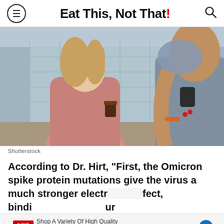Eat This, Not That!
[Figure (photo): Two women outdoors, one in a pink fuzzy coat coughing into her elbow, another with mask pulled down holding a coffee cup; urban background with glass structure]
Shutterstock
According to Dr. Hirt, "First, the Omicron spike protein mutations give the virus a much stronger electr[ostatic] [ef]fect, bindi[ng to yo]ur
[Figure (other): CVS advertisement banner: Shop A Variety Of High Quality Photo Products At CVS® Today]